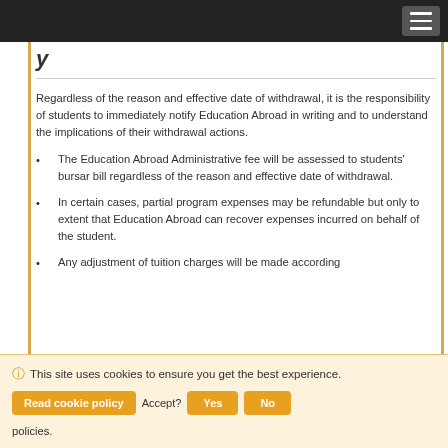y
Regardless of the reason and effective date of withdrawal, it is the responsibility of students to immediately notify Education Abroad in writing and to understand the implications of their withdrawal actions.
The Education Abroad Administrative fee will be assessed to students' bursar bill regardless of the reason and effective date of withdrawal.
In certain cases, partial program expenses may be refundable but only to extent that Education Abroad can recover expenses incurred on behalf of the student.
Any adjustment of tuition charges will be made according to policies.
This site uses cookies to ensure you get the best experience. Read cookie policy | Accept? | Yes | No